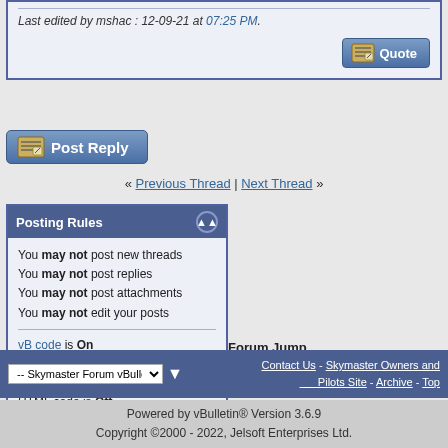Last edited by mshac : 12-09-21 at 07:25 PM.
[Figure (other): Quote button with pencil/paper icon]
[Figure (other): Post Reply button with pencil/paper icon]
« Previous Thread | Next Thread »
Posting Rules
You may not post new threads
You may not post replies
You may not post attachments
You may not edit your posts
vB code is On
Smilies are On
[IMG] code is Off
HTML code is Off
Forum Jump
Parts For Sale
All times are GMT -4. The time now is 10:04 PM.
Contact Us - Skymaster Owners and Pilots Site - Archive - Top
Powered by vBulletin® Version 3.6.9 Copyright ©2000 - 2022, Jelsoft Enterprises Ltd.